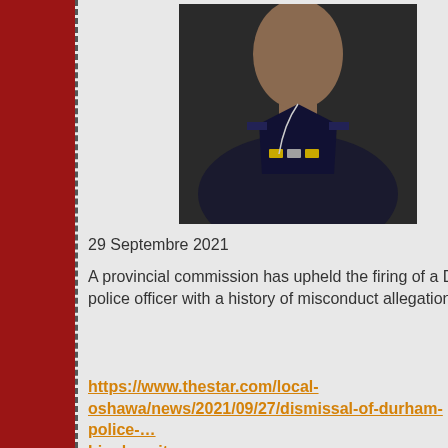[Figure (photo): A police officer in a dark uniform with medals/badges, cropped to show torso and partial face]
29 Septembre 2021
A provincial commission has upheld the firing of a Durham police officer with a history of misconduct allegations.
https://www.thestar.com/local-oshawa/news/2021/09/27/dismissal-of-durham-police-…
Lire la suite